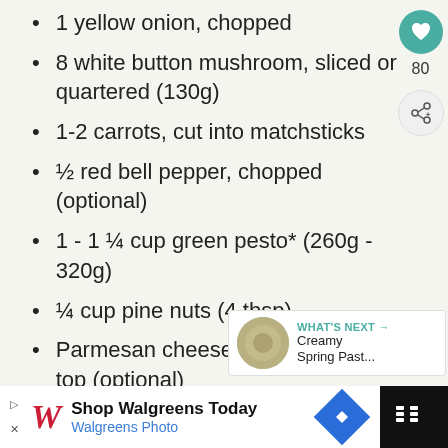1 yellow onion, chopped
8 white button mushroom, sliced or quartered (130g)
1-2 carrots, cut into matchsticks
½ red bell pepper, chopped (optional)
1 - 1 ¼ cup green pesto* (260g - 320g)
¼ cup pine nuts (4 tbsp)
Parmesan cheese and fresh basil, to top (optional)
Get Ingredients
Powered by chicory
80
WHAT'S NEXT → Creamy Spring Past...
Shop Walgreens Today Walgreens Photo